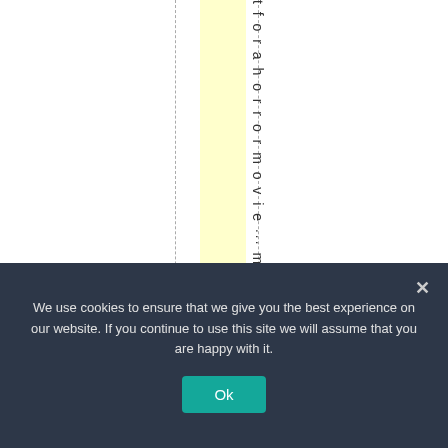[Figure (other): A webpage layout showing vertical rotated text reading 't f o r a h o r r o r m o v i e ... m' in dark gray, with a yellow highlighted vertical band and dashed vertical guide lines on a white background.]
We use cookies to ensure that we give you the best experience on our website. If you continue to use this site we will assume that you are happy with it.